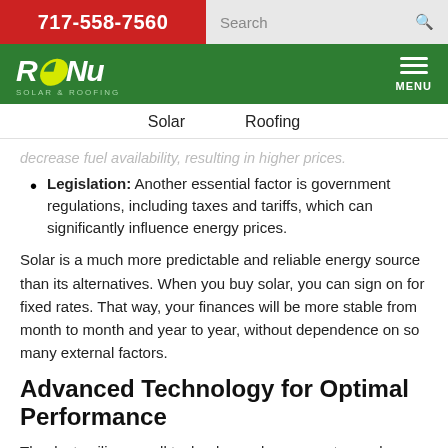717-558-7560  Search
[Figure (logo): ReNu Solar & Roofing green logo with menu button]
Solar   Roofing
decrease fuel availability, resulting in higher prices.
Legislation: Another essential factor is government regulations, including taxes and tariffs, which can significantly influence energy prices.
Solar is a much more predictable and reliable energy source than its alternatives. When you buy solar, you can sign on for fixed rates. That way, your finances will be more stable from month to month and year to year, without dependence on so many external factors.
Advanced Technology for Optimal Performance
Thanks to silicone cell technology advancements, modern solar